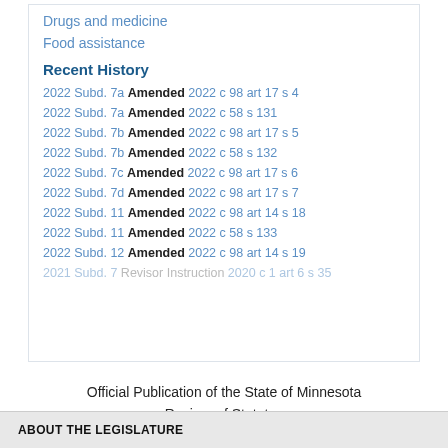Drugs and medicine
Food assistance
Recent History
2022 Subd. 7a Amended 2022 c 98 art 17 s 4
2022 Subd. 7a Amended 2022 c 58 s 131
2022 Subd. 7b Amended 2022 c 98 art 17 s 5
2022 Subd. 7b Amended 2022 c 58 s 132
2022 Subd. 7c Amended 2022 c 98 art 17 s 6
2022 Subd. 7d Amended 2022 c 98 art 17 s 7
2022 Subd. 11 Amended 2022 c 98 art 14 s 18
2022 Subd. 11 Amended 2022 c 58 s 133
2022 Subd. 12 Amended 2022 c 98 art 14 s 19
2021 Subd. 7 Revisor Instruction 2020 c 1 art 6 s 35
Official Publication of the State of Minnesota
Revisor of Statutes
ABOUT THE LEGISLATURE